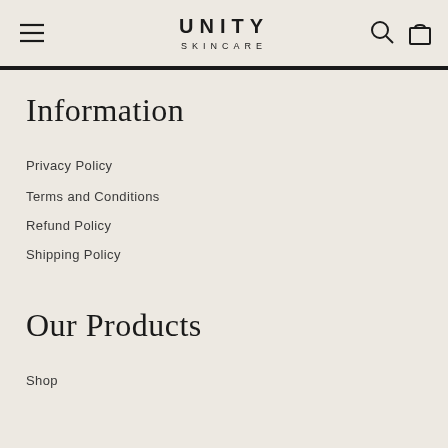UNITY SKINCARE
Information
Privacy Policy
Terms and Conditions
Refund Policy
Shipping Policy
Our Products
Shop